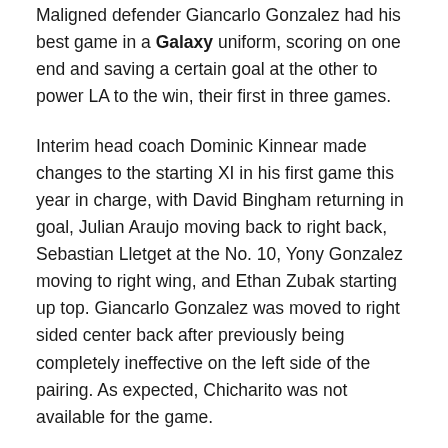Maligned defender Giancarlo Gonzalez had his best game in a Galaxy uniform, scoring on one end and saving a certain goal at the other to power LA to the win, their first in three games.
Interim head coach Dominic Kinnear made changes to the starting XI in his first game this year in charge, with David Bingham returning in goal, Julian Araujo moving back to right back, Sebastian Lletget at the No. 10, Yony Gonzalez moving to right wing, and Ethan Zubak starting up top. Giancarlo Gonzalez was moved to right sided center back after previously being completely ineffective on the left side of the pairing. As expected, Chicharito was not available for the game.
Kinnear had little help on the coaching staff for the night, with just technical director Jovan Kirovski helping out. Kinnear saying during his pregame press